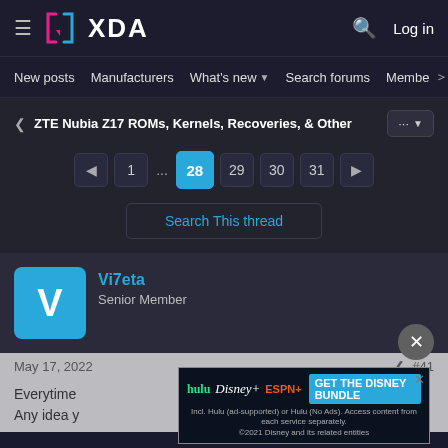XDA Developers - New posts | Manufacturers | What's new | Search forums | Members
ZTE Nubia Z17 ROMs, Kernels, Recoveries, & Other — Page 28 of 31
Search This thread
Vi7eta — Senior Member
May 17, 2022 — #41
Everytime ... Any idea y...
[Figure (screenshot): Disney Bundle advertisement banner: Hulu, Disney+, ESPN+, GET THE DISNEY BUNDLE. Incl. Hulu (ad-supported) or Hulu (No Ads). Access content from each service separately. ©2021 Disney and its related entities.]